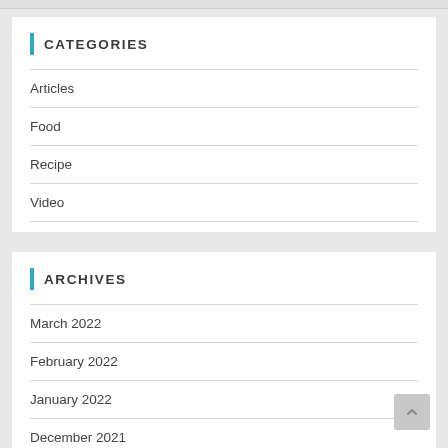CATEGORIES
Articles
Food
Recipe
Video
ARCHIVES
March 2022
February 2022
January 2022
December 2021